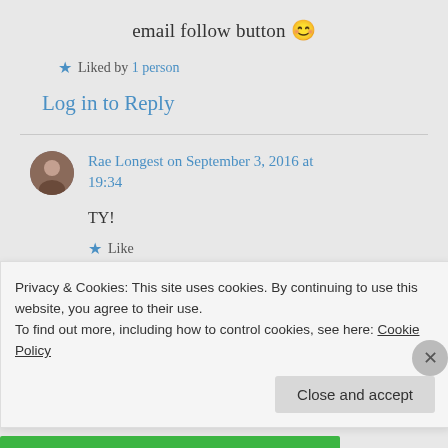email follow button 😊
★ Liked by 1 person
Log in to Reply
Rae Longest on September 3, 2016 at 19:34
TY!
★ Like
Privacy & Cookies: This site uses cookies. By continuing to use this website, you agree to their use. To find out more, including how to control cookies, see here: Cookie Policy
Close and accept